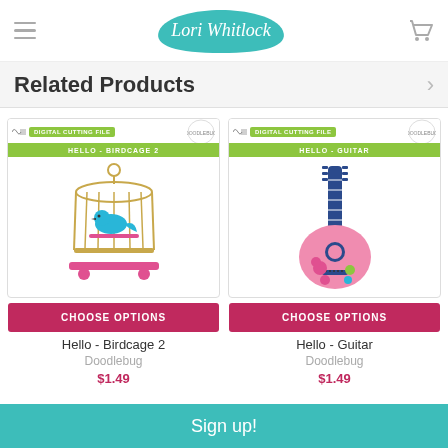Lori Whitlock
Related Products
[Figure (photo): Product package for Hello - Birdcage 2 digital cutting file, showing an illustrated birdcage with a blue bird inside, pink accents]
CHOOSE OPTIONS
Hello - Birdcage 2
Doodlebug
$1.49
[Figure (photo): Product package for Hello - Guitar digital cutting file, showing an illustrated pink guitar with floral decoration and dark blue neck]
CHOOSE OPTIONS
Hello - Guitar
Doodlebug
$1.49
Sign up!